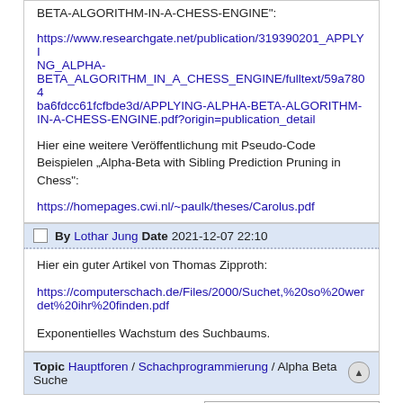BETA-ALGORITHM-IN-A-CHESS-ENGINE":
https://www.researchgate.net/publication/319390201_APPLYING_ALPHA-BETA_ALGORITHM_IN_A_CHESS_ENGINE/fulltext/59a7804ba6fdcc61fcfbde3d/APPLYING-ALPHA-BETA-ALGORITHM-IN-A-CHESS-ENGINE.pdf?origin=publication_detail
Hier eine weitere Veröffentlichung mit Pseudo-Code Beispielen „Alpha-Beta with Sibling Prediction Pruning in Chess":
https://homepages.cwi.nl/~paulk/theses/Carolus.pdf
By Lothar Jung Date 2021-12-07 22:10
Hier ein guter Artikel von Thomas Zipproth:
https://computerschach.de/Files/2000/Suchet,%20so%20werdet%20ihr%20finden.pdf
Exponentielles Wachstum des Suchbaums.
Topic Hauptforen / Schachprogrammierung / Alpha Beta Suche
- Schachprogrammierung